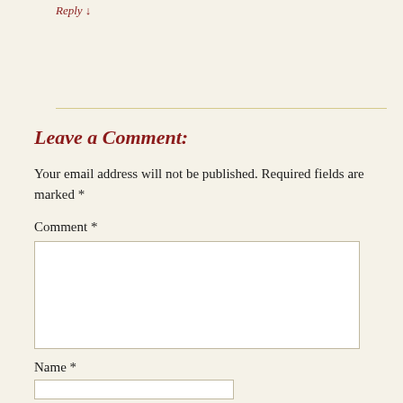Reply ↓
Leave a Comment:
Your email address will not be published. Required fields are marked *
Comment *
Name *